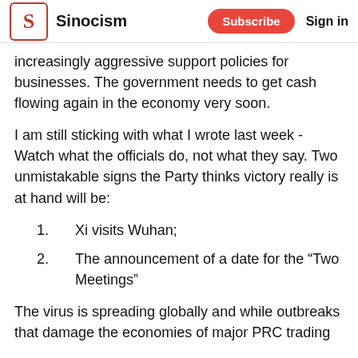Sinocism | Subscribe | Sign in
increasingly aggressive support policies for businesses. The government needs to get cash flowing again in the economy very soon.
I am still sticking with what I wrote last week - Watch what the officials do, not what they say. Two unmistakable signs the Party thinks victory really is at hand will be:
Xi visits Wuhan;
The announcement of a date for the “Two Meetings”
The virus is spreading globally and while outbreaks that damage the economies of major PRC trading